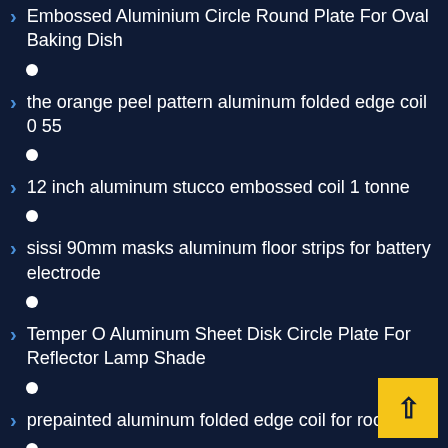Embossed Aluminium Circle Round Plate For Oval Baking Dish
the orange peel pattern aluminum folded edge coil 0 55
12 inch aluminum stucco embossed coil 1 tonne
sissi 90mm masks aluminum floor strips for battery electrode
Temper O Aluminum Sheet Disk Circle Plate For Reflector Lamp Shade
prepainted aluminum folded edge coil for roof